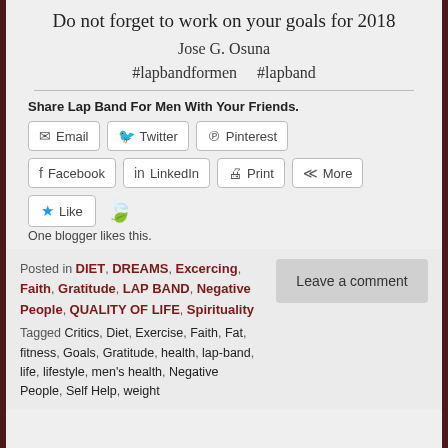Do not forget to work on your goals for 2018
Jose G. Osuna
#lapbandformen    #lapband
Share Lap Band For Men With Your Friends.
[Figure (infographic): Social sharing buttons: Email, Twitter, Pinterest, Facebook, LinkedIn, Print, More]
[Figure (infographic): Like button with blue star and green leaf icon]
One blogger likes this.
Posted in DIET, DREAMS, Excercing, Faith, Gratitude, LAP BAND, Negative People, QUALITY OF LIFE, Spirituality
Tagged Critics, Diet, Exercise, Faith, Fat, fitness, Goals, Gratitude, health, lap-band, life, lifestyle, men's health, Negative People, Self Help, weight
Leave a comment